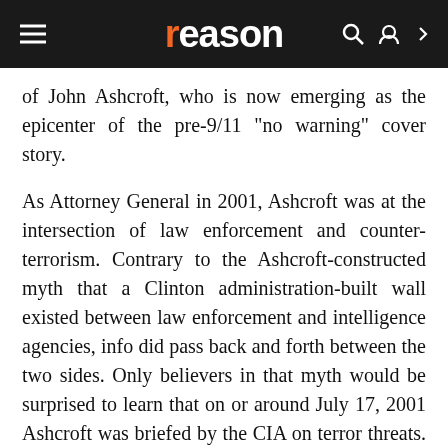reason
of John Ashcroft, who is now emerging as the epicenter of the pre-9/11 "no warning" cover story.
As Attorney General in 2001, Ashcroft was at the intersection of law enforcement and counter-terrorism. Contrary to the Ashcroft-constructed myth that a Clinton administration-built wall existed between law enforcement and intelligence agencies, info did pass back and forth between the two sides. Only believers in that myth would be surprised to learn that on or around July 17, 2001 Ashcroft was briefed by the CIA on terror threats. In keeping with the myth, Ashcroft denies ever getting such info.
McClatchy Newspapers reported last week:
[Figure (other): Light gray box at the bottom of the page, a quoted content block]